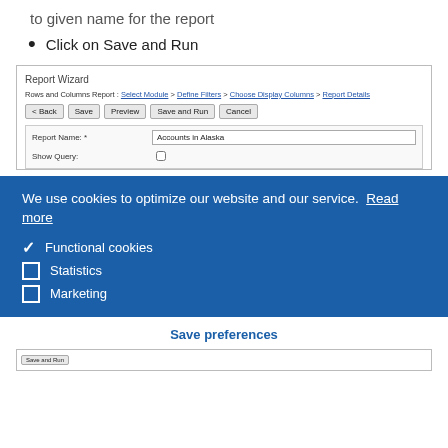to given name for the report
Click on Save and Run
[Figure (screenshot): Report Wizard screenshot showing breadcrumb navigation (Select Module > Define Filters > Choose Display Columns > Report Details), buttons (< Back, Save, Preview, Save and Run, Cancel), and a form with Report Name field filled with 'Accounts in Alaska' and a Show Query row.]
We use cookies to optimize our website and our service. Read more
Functional cookies
Statistics
Marketing
Save preferences
[Figure (screenshot): Bottom partial screenshot showing a button row at the bottom of the page.]